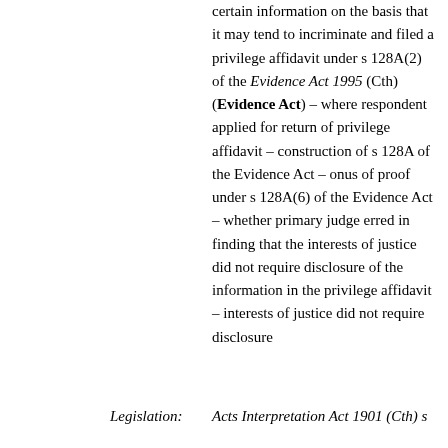certain information on the basis that it may tend to incriminate and filed a privilege affidavit under s 128A(2) of the Evidence Act 1995 (Cth) (Evidence Act) – where respondent applied for return of privilege affidavit – construction of s 128A of the Evidence Act – onus of proof under s 128A(6) of the Evidence Act – whether primary judge erred in finding that the interests of justice did not require disclosure of the information in the privilege affidavit – interests of justice did not require disclosure
Legislation:
Acts Interpretation Act 1901 (Cth) s